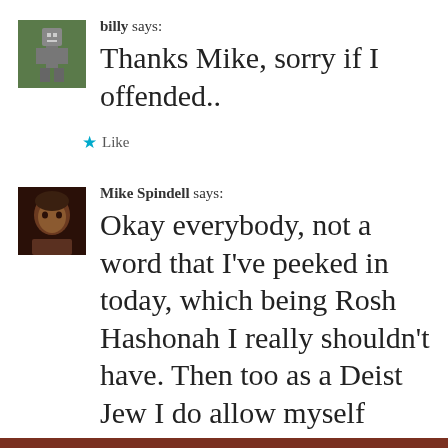[Figure (illustration): Pixel art avatar icon for user 'billy', green/gray colored]
billy says:
Thanks Mike, sorry if I offended..
★ Like
[Figure (photo): Profile photo of Mike Spindell, dark background]
Mike Spindell says:
Okay everybody, not a word that I've peeked in today, which being Rosh Hashonah I really shouldn't have. Then too as a Deist Jew I do allow myself certain latitude. The